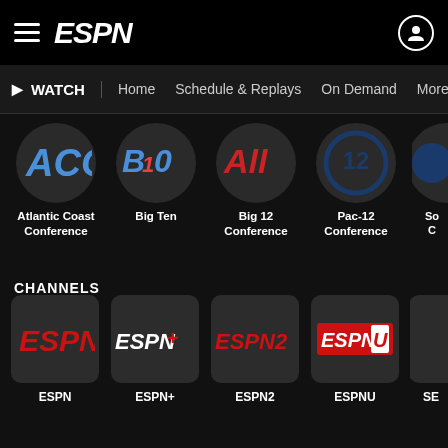ESPN - WATCH | Home | Schedule & Replays | On Demand | More
[Figure (screenshot): Conference logos row: Atlantic Coast Conference (ACC), Big Ten (B10), Big 12 Conference (All), Pac-12 Conference, and partially visible logo]
Atlantic Coast Conference
Big Ten
Big 12 Conference
Pac-12 Conference
CHANNELS
[Figure (screenshot): ESPN channel logos: ESPN, ESPN+, ESPN2, ESPNU, and partially visible channel]
ESPN
ESPN+
ESPN2
ESPNU
SE